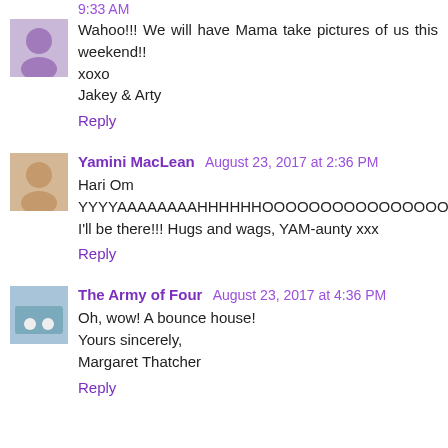9:33 AM
Wahoo!!! We will have Mama take pictures of us this weekend!!
xoxo
Jakey & Arty
Reply
Yamini MacLean August 23, 2017 at 2:36 PM
Hari Om
YYYYAAAAAAAAHHHHHHOOOOOOOOOOOOOOOOOOOOOOOOO... I'll be there!!! Hugs and wags, YAM-aunty xxx
Reply
The Army of Four August 23, 2017 at 4:36 PM
Oh, wow! A bounce house!
Yours sincerely,
Margaret Thatcher
Reply